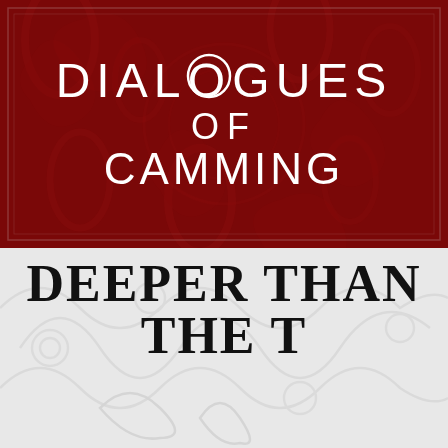[Figure (illustration): Book cover with two sections: top dark red section with ornate damask pattern and white text reading DIALOGUES OF CAMMING; bottom light grey section with floral scroll pattern and bold black text reading DEEPER THAN THE T[IDE/rees/etc.]]
DIALOGUES OF CAMMING
DEEPER THAN THE T...